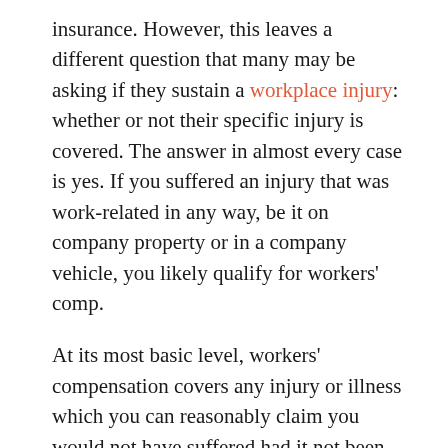insurance. However, this leaves a different question that many may be asking if they sustain a workplace injury: whether or not their specific injury is covered. The answer in almost every case is yes. If you suffered an injury that was work-related in any way, be it on company property or in a company vehicle, you likely qualify for workers' comp.
At its most basic level, workers' compensation covers any injury or illness which you can reasonably claim you would not have suffered had it not been for your employer. This includes even social events sponsored by your company, such as parties or career fairs, where you might suffer an illness or injury. It may surprise you to learn that you could even be compensated for reckless behavior, like if an employee was goofing off and accidentally struck you.